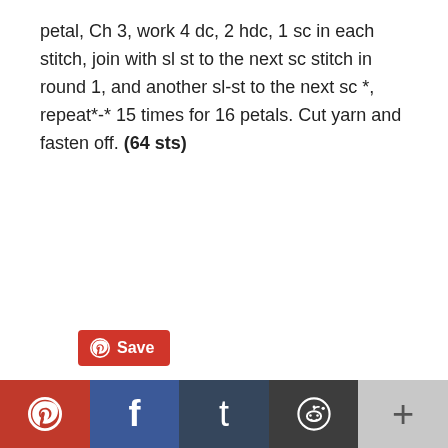petal, Ch 3, work 4 dc, 2 hdc, 1 sc in each stitch, join with sl st to the next sc stitch in round 1, and another sl-st to the next sc *, repeat*-* 15 times for 16 petals. Cut yarn and fasten off. (64 sts)
[Figure (other): Pinterest Save button (red background with Pinterest logo icon and 'Save' text)]
[Figure (other): Bottom social sharing bar with five sections: Pinterest (red), Facebook (blue), Tumblr (dark blue), Reddit (dark gray), More/Plus (light gray)]